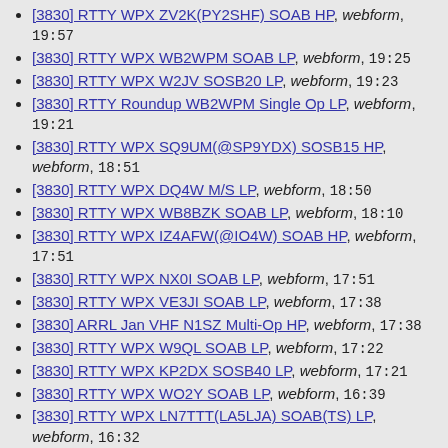[3830] RTTY WPX ZV2K(PY2SHF) SOAB HP, webform, 19:57
[3830] RTTY WPX WB2WPM SOAB LP, webform, 19:25
[3830] RTTY WPX W2JV SOSB20 LP, webform, 19:23
[3830] RTTY Roundup WB2WPM Single Op LP, webform, 19:21
[3830] RTTY WPX SQ9UM(@SP9YDX) SOSB15 HP, webform, 18:51
[3830] RTTY WPX DQ4W M/S LP, webform, 18:50
[3830] RTTY WPX WB8BZK SOAB LP, webform, 18:10
[3830] RTTY WPX IZ4AFW(@IO4W) SOAB HP, webform, 17:51
[3830] RTTY WPX NX0I SOAB LP, webform, 17:51
[3830] RTTY WPX VE3JI SOAB LP, webform, 17:38
[3830] ARRL Jan VHF N1SZ Multi-Op HP, webform, 17:38
[3830] RTTY WPX W9QL SOAB LP, webform, 17:22
[3830] RTTY WPX KP2DX SOSB40 LP, webform, 17:21
[3830] RTTY WPX WO2Y SOAB LP, webform, 16:39
[3830] RTTY WPX LN7TTT(LA5LJA) SOAB(TS) LP, webform, 16:32
[3830] RTTY WPX NY6DX(@KF2GV) SOAB(TS) LP, webform, 16:30